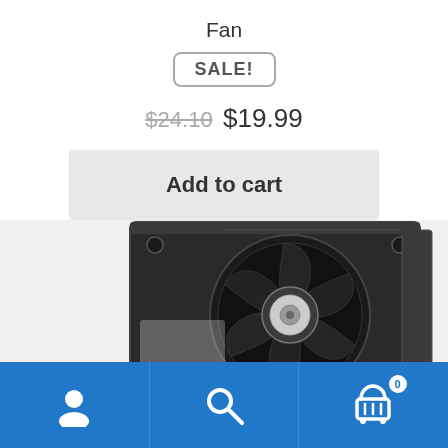Fan
SALE!
$24.10  $19.99
Add to cart
[Figure (photo): Black computer/server cooling fan with dark plastic housing, showing fan blades and metallic center hub, photographed from an angle on white background]
Account | Search | Cart (0)